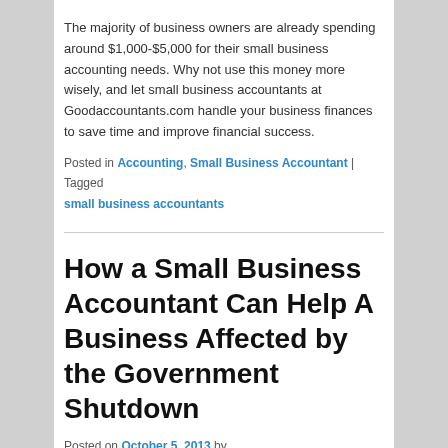The majority of business owners are already spending around $1,000-$5,000 for their small business accounting needs. Why not use this money more wisely, and let small business accountants at Goodaccountants.com handle your business finances to save time and improve financial success.
Posted in Accounting, Small Business Accountant | Tagged small business accountants
How a Small Business Accountant Can Help A Business Affected by the Government Shutdown
Posted on October 5, 2013 by goodaccountants.com